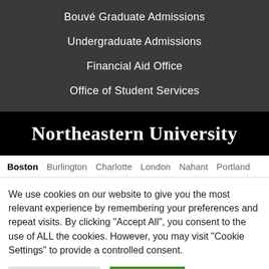Bouvé Graduate Admissions
Undergraduate Admissions
Financial Aid Office
Office of Student Services
Northeastern University
Boston   Burlington   Charlotte   London   Nahant   Portland
We use cookies on our website to give you the most relevant experience by remembering your preferences and repeat visits. By clicking "Accept All", you consent to the use of ALL the cookies. However, you may visit "Cookie Settings" to provide a controlled consent.
Cookie Settings   Accept All